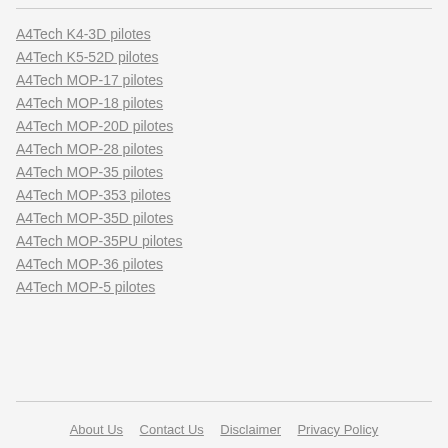A4Tech K4-3D pilotes
A4Tech K5-52D pilotes
A4Tech MOP-17 pilotes
A4Tech MOP-18 pilotes
A4Tech MOP-20D pilotes
A4Tech MOP-28 pilotes
A4Tech MOP-35 pilotes
A4Tech MOP-353 pilotes
A4Tech MOP-35D pilotes
A4Tech MOP-35PU pilotes
A4Tech MOP-36 pilotes
A4Tech MOP-5 pilotes
About Us   Contact Us   Disclaimer   Privacy Policy